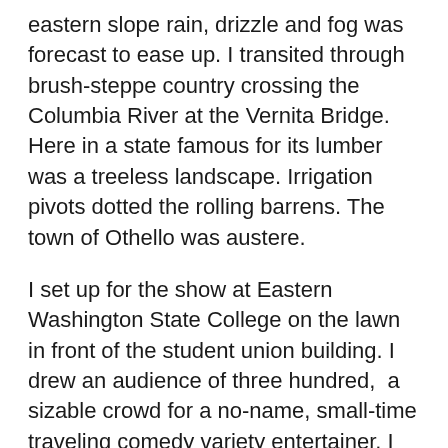eastern slope rain, drizzle and fog was forecast to ease up. I transited through brush-steppe country crossing the Columbia River at the Vernita Bridge. Here in a state famous for its lumber was a treeless landscape. Irrigation pivots dotted the rolling barrens. The town of Othello was austere.
I set up for the show at Eastern Washington State College on the lawn in front of the student union building. I drew an audience of three hundred,  a sizable crowd for a no-name, small-time traveling comedy variety entertainer. I caught, built and held the audience. Then there were laughs. Applause points ranged to respectable not more.
My show at Evergreen State in Olympia had been not as big but was more energetic. I am 29 years old. My 60 minutes remained a frustrating work-in-progress. After most of a decade much remained to be done.
After my show a friend waited to say hello. I'd come to know him through his involvement in the Community for...